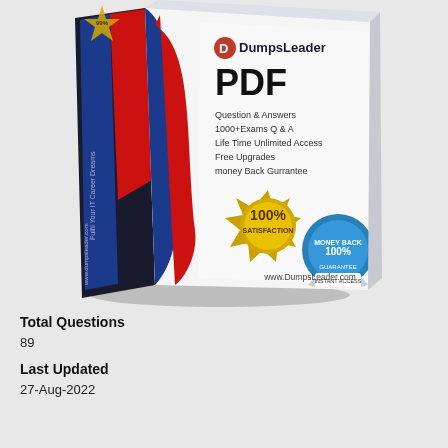[Figure (illustration): DumpsLeader PDF product box illustration. The box has a navy blue and red wave design on the spine and front. The front face shows the DumpsLeader logo, 'PDF' in large bold text, bullet points listing features: 'Question & Answers', '1000+Exams Q & A', 'Life Time Unlimited Access', 'Free Upgrades', 'money Back Gurrantee'. A gold '100% SATISFACTION' seal badge and a blue '100% MONEY BACK GUARANTEE' badge are visible. The website 'www.DumpsLeader.com' appears at the bottom. The left spine has vertical text 'Fulfil Your IT Career Dreams' and 'www.dumpsleader.com'. A gold star badge is at the top left corner.]
Total Questions
89
Last Updated
27-Aug-2022